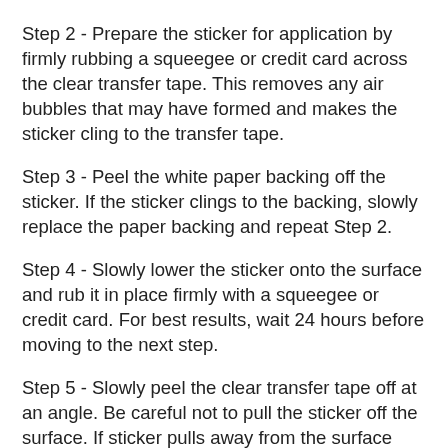Step 2 - Prepare the sticker for application by firmly rubbing a squeegee or credit card across the clear transfer tape. This removes any air bubbles that may have formed and makes the sticker cling to the transfer tape.
Step 3 - Peel the white paper backing off the sticker. If the sticker clings to the backing, slowly replace the paper backing and repeat Step 2.
Step 4 - Slowly lower the sticker onto the surface and rub it in place firmly with a squeegee or credit card. For best results, wait 24 hours before moving to the next step.
Step 5 - Slowly peel the clear transfer tape off at an angle. Be careful not to pull the sticker off the surface. If sticker pulls away from the surface repeat Step 4.
*For best results do not apply a sticker in extreme hot